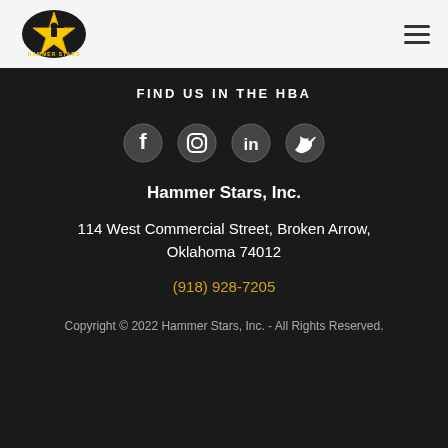[Figure (logo): Hammer Stars logo — yellow star with figure holding hammer, orange/black badge, text HAMMER STARS around the star]
[Figure (other): Hamburger menu icon with three horizontal lines]
FIND US IN THE HBA
[Figure (other): Four social media icons in circles: Facebook, Instagram, LinkedIn, Twitter]
Hammer Stars, Inc.
114 West Commercial Street, Broken Arrow, Oklahoma 74012
(918) 928-7205
Copyright © 2022 Hammer Stars, Inc. - All Rights Reserved.